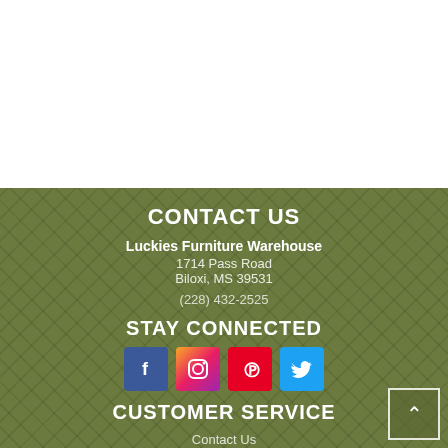CONTACT US
Luckies Furniture Warehouse
1714 Pass Road
Biloxi, MS 39531

(228) 432-2525
STAY CONNECTED
[Figure (illustration): Social media icons: Facebook, Instagram, Pinterest, Twitter]
CUSTOMER SERVICE
Contact Us
My Account
Privacy Policy